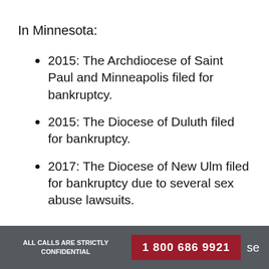In Minnesota:
2015: The Archdiocese of Saint Paul and Minneapolis filed for bankruptcy.
2015: The Diocese of Duluth filed for bankruptcy.
2017: The Diocese of New Ulm filed for bankruptcy due to several sex abuse lawsuits.
ALL CALLS ARE STRICTLY CONFIDENTIAL   1 800 686 9921